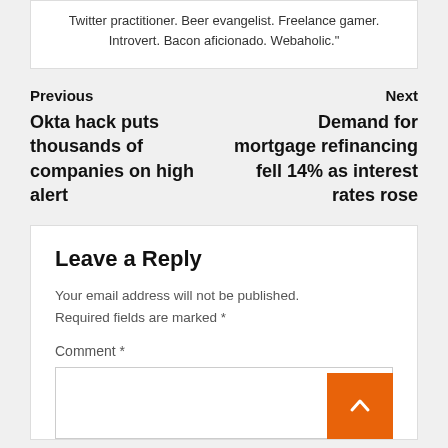Twitter practitioner. Beer evangelist. Freelance gamer. Introvert. Bacon aficionado. Webaholic.
Previous
Okta hack puts thousands of companies on high alert
Next
Demand for mortgage refinancing fell 14% as interest rates rose
Leave a Reply
Your email address will not be published.
Required fields are marked *
Comment *